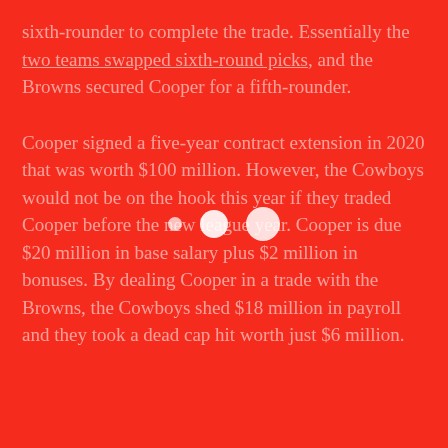sixth-rounder to complete the trade. Essentially the two teams swapped sixth-round picks, and the Browns secured Cooper for a fifth-rounder.
Cooper signed a five-year contract extension in 2020 that was worth $100 million. However, the Cowboys would not be on the hook this year if they traded Cooper before the new league year. Cooper is due $20 million in base salary plus $2 million in bonuses. By dealing Cooper in a trade with the Browns, the Cowboys shed $18 million in payroll and they took a dead cap hit worth just $6 million.
[Figure (other): Three white loading indicator dots of progressively larger sizes centered on the page]